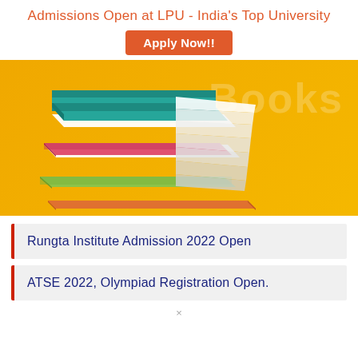Admissions Open at LPU - India's Top University
Apply Now!!
[Figure (illustration): Stack of colorful books (teal, pink/red, green, orange) with white pages fanned out, on a golden/yellow background with 'Books' text watermark]
Rungta Institute Admission 2022 Open
ATSE 2022, Olympiad Registration Open.